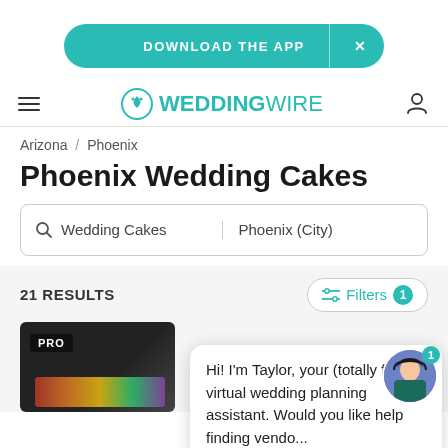[Figure (screenshot): WeddingWire mobile app banner saying DOWNLOAD THE APP with X close button]
WeddingWire navigation header with hamburger menu, WeddingWire logo, and user icon
Arizona / Phoenix
Phoenix Wedding Cakes
[Figure (screenshot): Search bar with Wedding Cakes and Phoenix (City) fields]
21 RESULTS
[Figure (screenshot): Filters button with badge showing 1 active filter]
[Figure (screenshot): PRO vendor listing card with decorative cake image]
Hi! I'm Taylor, your (totally free) virtual wedding planning assistant. Would you like help finding vendo...